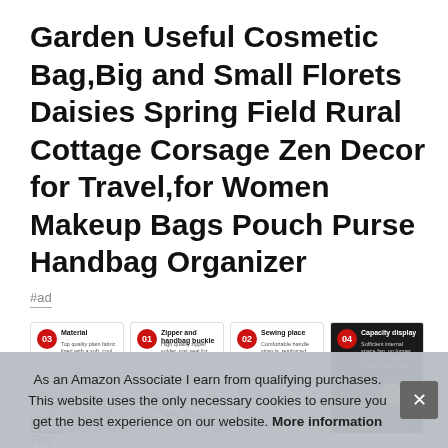Garden Useful Cosmetic Bag,Big and Small Florets Daisies Spring Field Rural Cottage Corsage Zen Decor for Travel,for Women Makeup Bags Pouch Purse Handbag Organizer
#ad
[Figure (photo): Four product detail cards with red numbered badges (03 Material, 01 Zipper and handbag buckle, 02 Sewing place, 04 Capacity display) showing close-up images of a cosmetic bag with black and white houndstooth/striped pattern]
LiTA
The
As an Amazon Associate I earn from qualifying purchases. This website uses the only necessary cookies to ensure you get the best experience on our website. More information